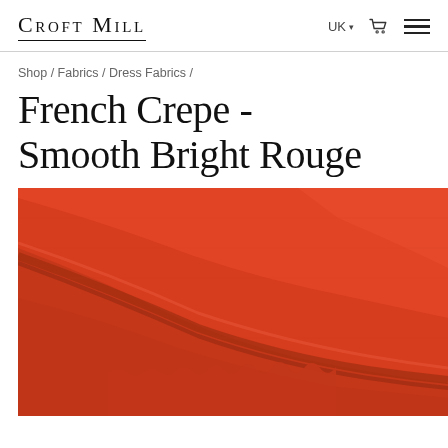Croft Mill | UK | cart | menu
Shop / Fabrics / Dress Fabrics /
French Crepe - Smooth Bright Rouge
[Figure (photo): Close-up photo of bright rouge/red French crepe fabric folded, showing texture and a scalloped edge in the lower centre.]